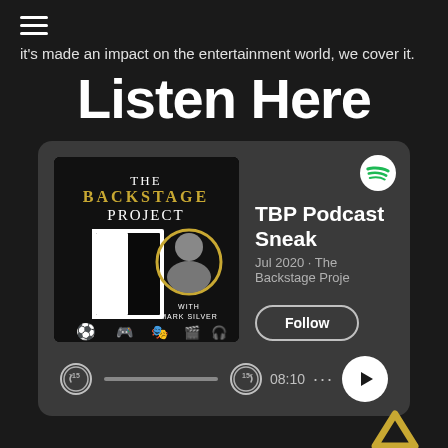[Figure (screenshot): Hamburger menu icon (three horizontal lines) in top left]
it's made an impact on the entertainment world, we cover it.
Listen Here
[Figure (screenshot): Spotify embedded podcast player card showing 'The Backstage Project' podcast cover art, TBP Podcast Sneak episode, Jul 2020, The Backstage Proje, Follow button, playback controls with 08:10 time, skip 15s buttons, progress bar, play button, and Spotify logo]